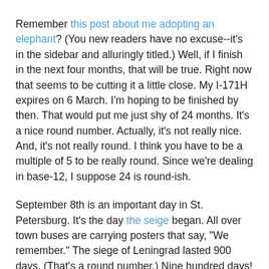Remember this post about me adopting an elephant? (You new readers have no excuse--it's in the sidebar and alluringly titled.) Well, if I finish in the next four months, that will be true. Right now that seems to be cutting it a little close. My I-171H expires on 6 March. I'm hoping to be finished by then. That would put me just shy of 24 months. It's a nice round number. Actually, it's not really nice. And, it's not really round. I think you have to be a multiple of 5 to be really round. Since we're dealing in base-12, I suppose 24 is round-ish.
September 8th is an important day in St. Petersburg. It's the day the seige began. All over town buses are carrying posters that say, "We remember." The siege of Leningrad lasted 900 days. (That's a round number.) Nine hundred days! It makes my little siege seem pathetically short. While I'm VERY hopeful that my adoption doesn't take 900 days (that would take us to right about this time next year) I am confident that I can outlast anything that is put in my path.
Have you ever wondered what God thinks about the